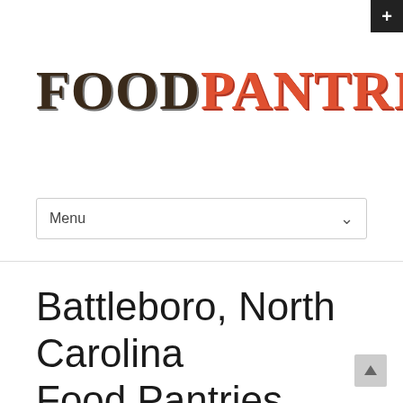[Figure (logo): FoodPantries.org logo with stylized text: FOOD in dark brown/black with texture, PANTRIES in orange-red with texture, .ORG in gray]
Menu
Battleboro, North Carolina Food Pantries
Home / North Carolina Food Pantry / Battleboro